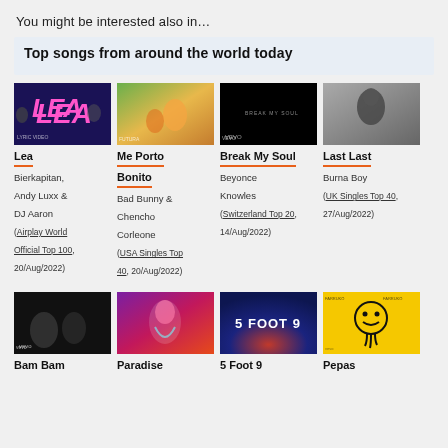You might be interested also in…
Top songs from around the world today
[Figure (screenshot): Thumbnail image for song Lea]
Lea
Bierkapitan, Andy Luxx & DJ Aaron
(Airplay World Official Top 100, 20/Aug/2022)
[Figure (screenshot): Thumbnail image for song Me Porto Bonito]
Me Porto Bonito
Bad Bunny & Chencho Corleone
(USA Singles Top 40, 20/Aug/2022)
[Figure (screenshot): Thumbnail image for song Break My Soul]
Break My Soul
Beyonce Knowles
(Switzerland Top 20, 14/Aug/2022)
[Figure (screenshot): Thumbnail image for song Last Last]
Last Last
Burna Boy
(UK Singles Top 40, 27/Aug/2022)
[Figure (screenshot): Thumbnail image for song Bam Bam]
Bam Bam
[Figure (screenshot): Thumbnail image for song Paradise]
Paradise
[Figure (screenshot): Thumbnail image for song 5 Foot 9]
5 Foot 9
[Figure (screenshot): Thumbnail image for song Pepas]
Pepas